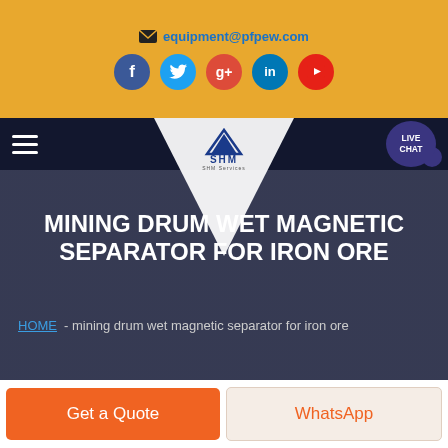equipment@pfpew.com
[Figure (screenshot): Social media icons: Facebook, Twitter, Google+, LinkedIn, YouTube on golden background]
[Figure (logo): SHM company logo with funnel/navigation bar on dark background, LIVE CHAT bubble]
MINING DRUM WET MAGNETIC SEPARATOR FOR IRON ORE
HOME - mining drum wet magnetic separator for iron ore
Get a Quote
WhatsApp